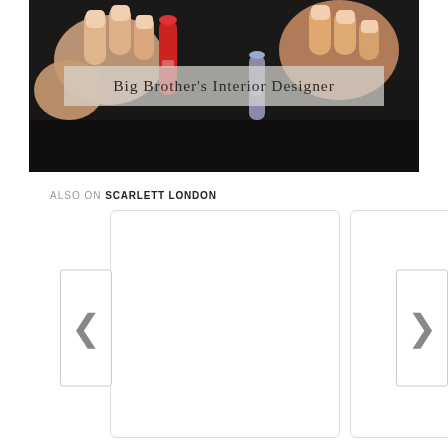[Figure (photo): Close-up photo of hands holding a nail polish brush against a dark background, with red nail polish visible. Overlaid with a semi-transparent banner containing the title 'Big Brother's Interior Designer'.]
Big Brother's Interior Designer
ALSO ON SCARLETT LONDON
[Figure (screenshot): Two content card placeholders with left and right navigation arrows, part of a carousel widget on Scarlett London website.]